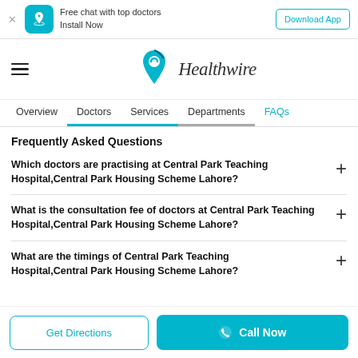Free chat with top doctors
Install Now | Download App
[Figure (logo): Healthwire logo with teal heart/location pin icon and italic Healthwire text]
Overview | Doctors | Services | Departments | FAQs
Frequently Asked Questions
Which doctors are practising at Central Park Teaching Hospital,Central Park Housing Scheme Lahore?
What is the consultation fee of doctors at Central Park Teaching Hospital,Central Park Housing Scheme Lahore?
What are the timings of Central Park Teaching Hospital,Central Park Housing Scheme Lahore?
Get Directions
Call Now